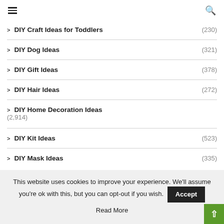Navigation header with hamburger menu and search icon
DIY Craft Ideas for Toddlers (230)
DIY Dog Ideas (321)
DIY Gift Ideas (378)
DIY Hair Ideas (272)
DIY Home Decoration Ideas (2,914)
DIY Kit Ideas (523)
DIY Mask Ideas (335)
This website uses cookies to improve your experience. We'll assume you're ok with this, but you can opt-out if you wish. Accept Read More